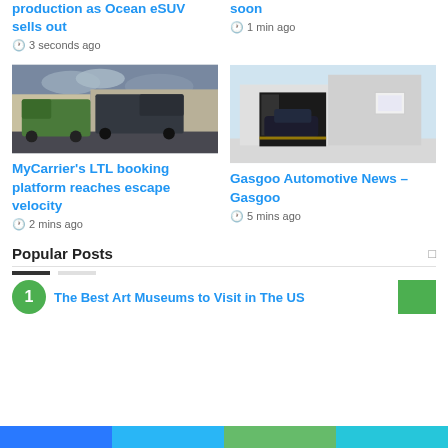production as Ocean eSUV sells out
3 seconds ago
soon
1 min ago
[Figure (photo): Two semi trucks parked outside a warehouse under a cloudy sky, one green and one dark colored]
MyCarrier’s LTL booking platform reaches escape velocity
2 mins ago
[Figure (photo): A modern garage or charging station structure with a dark interior showing a parked SUV, rendered in a clean architectural style]
Gasgoo Automotive News – Gasgoo
5 mins ago
Popular Posts
The Best Art Museums to Visit in The US
Color bar footer